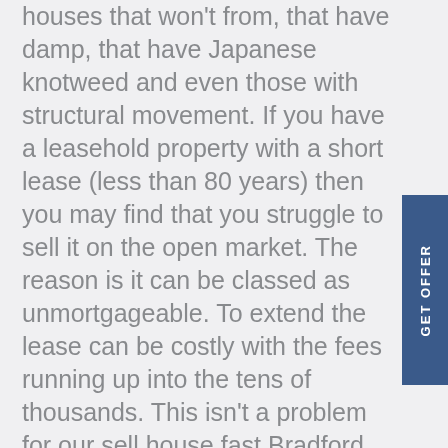houses that won't from, that have damp, that have Japanese knotweed and even those with structural movement. If you have a leasehold property with a short lease (less than 80 years) then you may find that you struggle to sell it on the open market. The reason is it can be classed as unmortgageable. To extend the lease can be costly with the fees running up into the tens of thousands. This isn't a problem for our sell house fast Bradford team as we can buy for cash, so the short lease isnt a problem. If you have a council property and